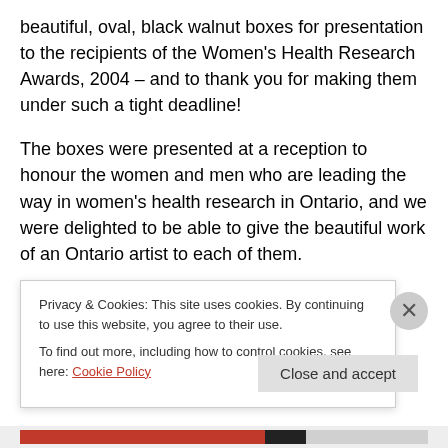beautiful, oval, black walnut boxes for presentation to the recipients of the Women's Health Research Awards, 2004 – and to thank you for making them under such a tight deadline!
The boxes were presented at a reception to honour the women and men who are leading the way in women's health research in Ontario, and we were delighted to be able to give the beautiful work of an Ontario artist to each of them.
Several recipients have contacted us since the reception